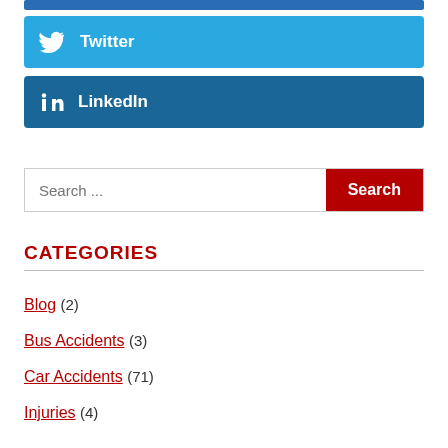[Figure (other): Twitter share button — light blue button with Twitter bird icon and bold white text 'Twitter']
[Figure (other): LinkedIn share button — dark blue button with LinkedIn 'in' icon and bold white text 'LinkedIn']
Search ...
CATEGORIES
Blog (2)
Bus Accidents (3)
Car Accidents (71)
Injuries (4)